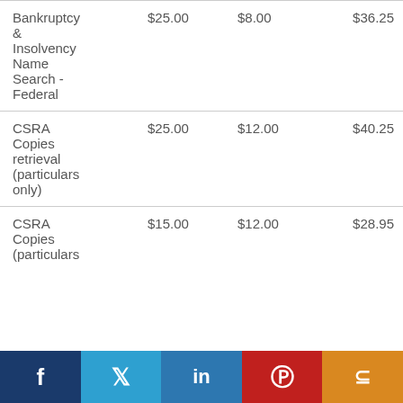| Bankruptcy & Insolvency Name Search - Federal | $25.00 | $8.00 | $36.25 |
| CSRA Copies retrieval (particulars only) | $25.00 | $12.00 | $40.25 |
| CSRA Copies (particulars | $15.00 | $12.00 | $28.95 |